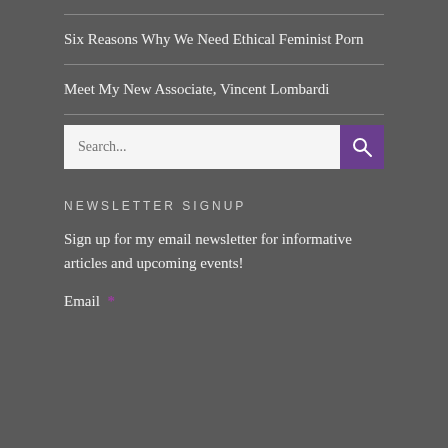Six Reasons Why We Need Ethical Feminist Porn
Meet My New Associate, Vincent Lombardi
[Figure (other): Search input box with purple search icon button]
NEWSLETTER SIGNUP
Sign up for my email newsletter for informative articles and upcoming events!
Email *